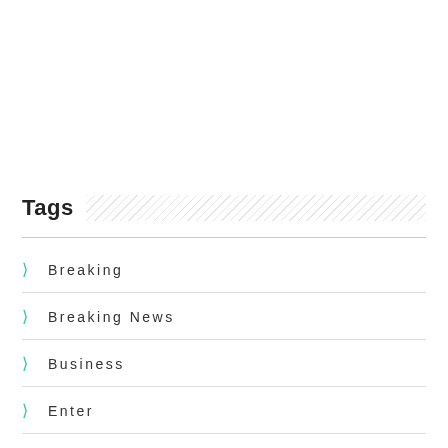Tags
Breaking
Breaking News
Business
Enter
Entertainment
Foreign News